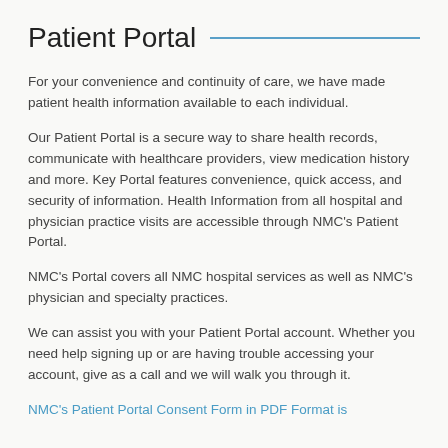Patient Portal
For your convenience and continuity of care, we have made patient health information available to each individual.
Our Patient Portal is a secure way to share health records, communicate with healthcare providers, view medication history and more. Key Portal features convenience, quick access, and security of information. Health Information from all hospital and physician practice visits are accessible through NMC’s Patient Portal.
NMC’s Portal covers all NMC hospital services as well as NMC’s physician and specialty practices.
We can assist you with your Patient Portal account. Whether you need help signing up or are having trouble accessing your account, give as a call and we will walk you through it.
NMC’s Patient Portal Consent Form in PDF Format is